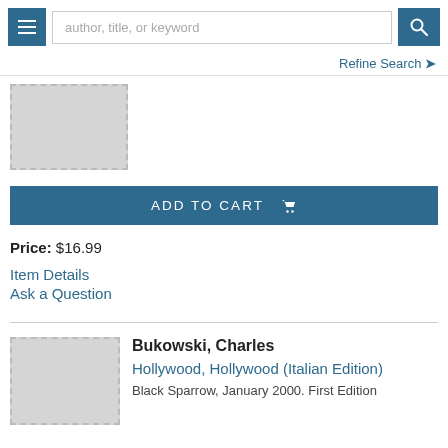author, title, or keyword
Refine Search
[Figure (other): Book cover placeholder image (gray rectangle with dashed border)]
ADD TO CART
Price: $16.99
Item Details
Ask a Question
[Figure (other): Book cover placeholder image (gray rectangle with dashed border)]
Bukowski, Charles
Hollywood, Hollywood (Italian Edition)
Black Sparrow, January 2000. First Edition